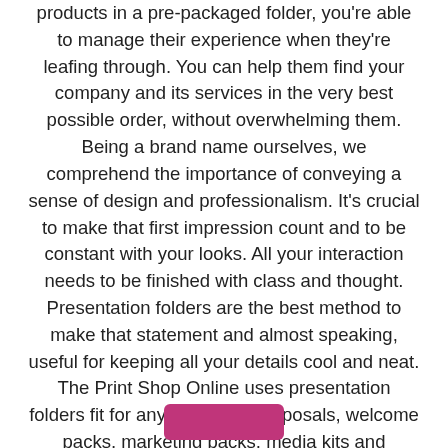products in a pre-packaged folder, you're able to manage their experience when they're leafing through. You can help them find your company and its services in the very best possible order, without overwhelming them. Being a brand name ourselves, we comprehend the importance of conveying a sense of design and professionalism. It's crucial to make that first impression count and to be constant with your looks. All your interaction needs to be finished with class and thought. Presentation folders are the best method to make that statement and almost speaking, useful for keeping all your details cool and neat. The Print Shop Online uses presentation folders fit for any function-- Proposals, welcome packs, marketing packs, media kits and presentation tools. A lot of the innovative services we provide for our business cards and stickers are up for grabs with presentation folders too. Matt and gloss finishes, foils and a whole series of folder formats and sizes.
[Figure (other): Pink/magenta rounded rectangle button at bottom center of page]